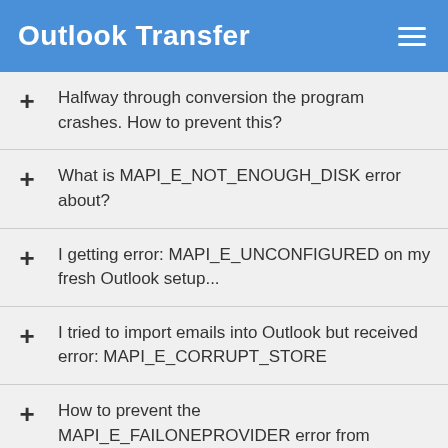Outlook Transfer
Halfway through conversion the program crashes. How to prevent this?
What is MAPI_E_NOT_ENOUGH_DISK error about?
I getting error: MAPI_E_UNCONFIGURED on my fresh Outlook setup...
I tried to import emails into Outlook but received error: MAPI_E_CORRUPT_STORE
How to prevent the MAPI_E_FAILONEPROVIDER error from happening?